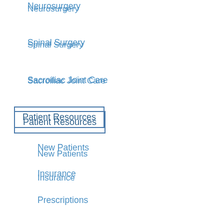Neurosurgery
Spinal Surgery
Sacroiliac Joint Care
Patient Resources
New Patients
Insurance
Prescriptions
Transcriptions & Cancellations
Glossary of Terms
Pre & Post Op Instructions